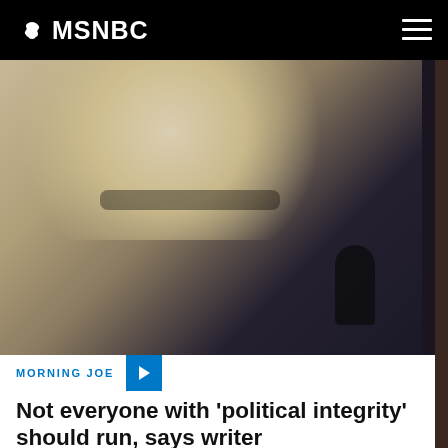MSNBC
[Figure (photo): Close-up photo of a blonde woman with dark-rimmed glasses gesturing with her hand near a microphone, appearing to speak at a hearing or press event.]
MORNING JOE
Not everyone with 'political integrity' should run, says writer
[Figure (photo): Partial bottom photo showing the top of a person's head with gray hair against a green outdoor background.]